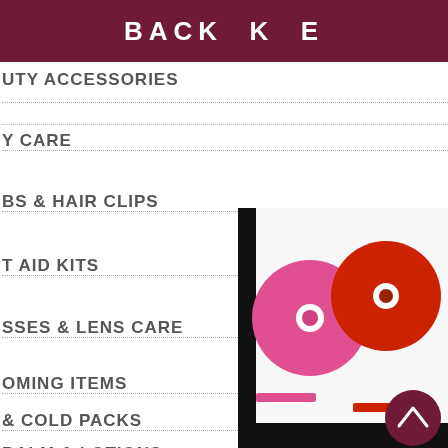BACK K E
UTY ACCESSORIES
Y CARE
BS & HAIR CLIPS
T AID KITS
SSES & LENS CARE
OMING ITEMS
& COLD PACKS
BALM & LOTIONS
[Figure (photo): Rolls of pink and red satin ribbon on white background, with a dark cylindrical object partially visible at the bottom right]